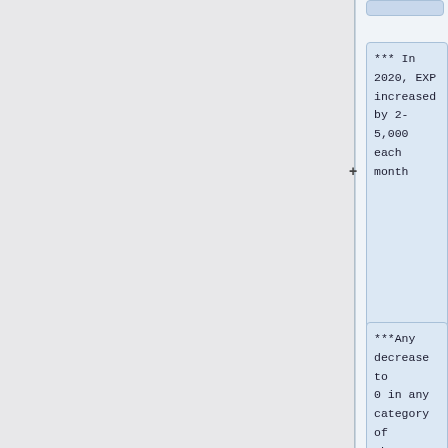*** In 2020, EXP increased by 2-5,000 each month
***Any decrease to 0 in any category of the stats is suspicious of some error, either by the contributing group of by the processing